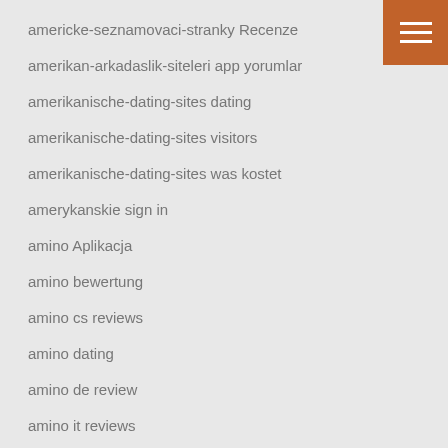americke-seznamovaci-stranky Recenze
amerikan-arkadaslik-siteleri app yorumlar
amerikanische-dating-sites dating
amerikanische-dating-sites visitors
amerikanische-dating-sites was kostet
amerykanskie sign in
amino Aplikacja
amino bewertung
amino cs reviews
amino dating
amino de review
amino it reviews
amino online dating